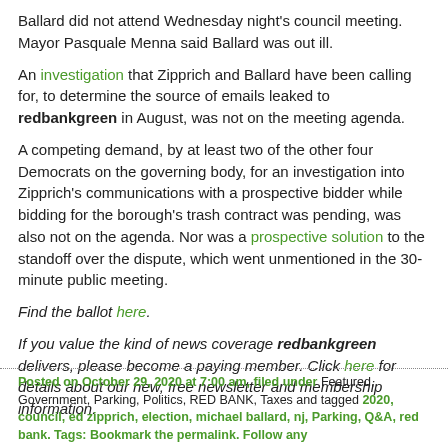Ballard did not attend Wednesday night's council meeting. Mayor Pasquale Menna said Ballard was out ill.
An investigation that Zipprich and Ballard have been calling for, to determine the source of emails leaked to redbankgreen in August, was not on the meeting agenda.
A competing demand, by at least two of the other four Democrats on the governing body, for an investigation into Zipprich's communications with a prospective bidder while bidding for the borough's trash contract was pending, was also not on the agenda. Nor was a prospective solution to the standoff over the dispute, which went unmentioned in the 30-minute public meeting.
Find the ballot here.
If you value the kind of news coverage redbankgreen delivers, please become a paying member. Click here for details about our new, free newsletter and membership information.
Posted on October 29, 2020 at 7:00 am, filed under Featured, Government, Parking, Politics, RED BANK, Taxes and tagged 2020, council, ed zipprich, election, michael ballard, nj, Parking, Q&A, red bank. Tags: Bookmark the permalink. Follow any